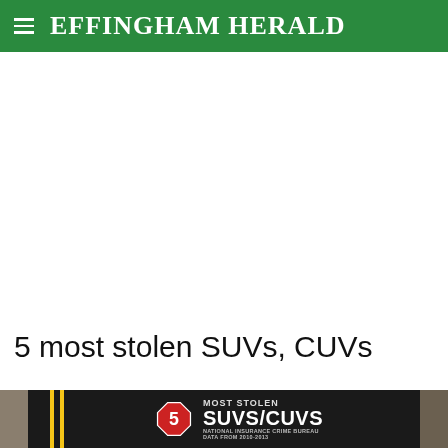Effingham Herald
5 most stolen SUVs, CUVs
[Figure (infographic): Infographic showing '5 Most Stolen SUVs/CUVs' with a red octagon stop-sign displaying the number 5, text reading 'MOST STOLEN SUVS/CUVS NATIONAL INSURANCE CRIME BUREAU DATA FROM 2010-2013', set against a dark asphalt road background with yellow road markings.]